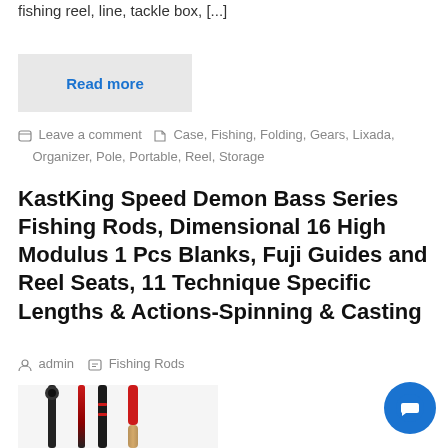fishing reel, line, tackle box, [...]
Read more
Leave a comment  Case, Fishing, Folding, Gears, Lixada, Organizer, Pole, Portable, Reel, Storage
KastKing Speed Demon Bass Series Fishing Rods, Dimensional 16 High Modulus 1 Pcs Blanks, Fuji Guides and Reel Seats, 11 Technique Specific Lengths & Actions-Spinning & Casting
admin  Fishing Rods
[Figure (photo): Photo of fishing rods including black, red, and cork-handled rod sections standing upright]